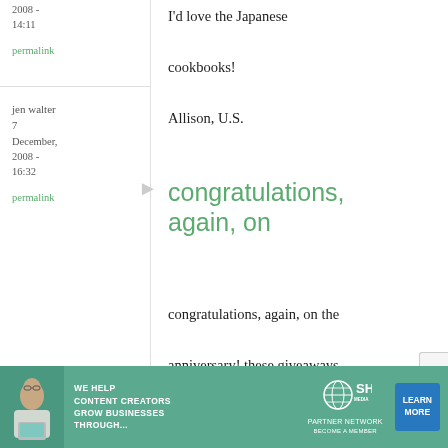2008 - 14:11
permalink
I'd love the Japanese cookbooks!

Allison, U.S.
jen walter
7 December, 2008 - 16:32
permalink
congratulations, again, on
congratulations, again, on the anniversary! these giveaways are so fun and generous of
[Figure (photo): Advertisement banner: SHE Partner Network - We help content creators grow businesses through... with a Learn More button and photo of a woman with laptop]